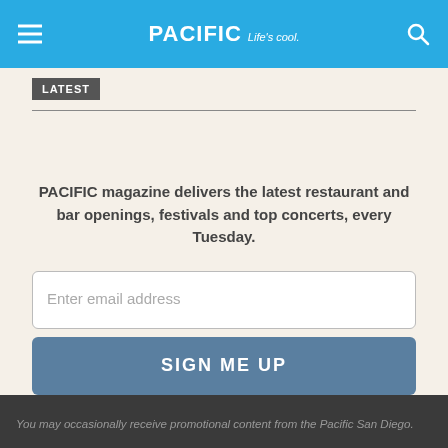PACIFIC Life's cool.
LATEST
PACIFIC magazine delivers the latest restaurant and bar openings, festivals and top concerts, every Tuesday.
Enter email address
SIGN ME UP
By continuing to use our site, you agree to our Terms of Service and Privacy Policy. You can learn more about how we use cookies by reviewing our Privacy Policy. Close
You may occasionally receive promotional content from the Pacific San Diego.